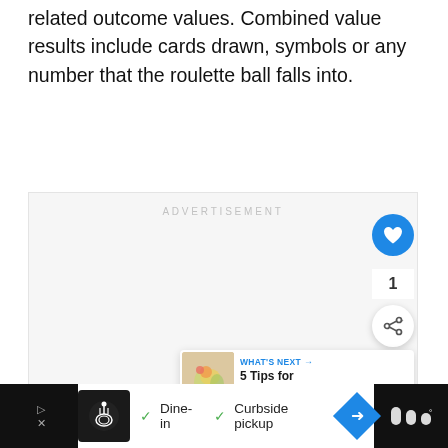related outcome values. Combined value results include cards drawn, symbols or any number that the roulette ball falls into.
[Figure (screenshot): Advertisement placeholder box with light gray background and 'ADVERTISEMENT' label at top center. Contains floating action buttons (heart/like button in blue, count showing '1', share button), a 'WHAT'S NEXT' card with thumbnail and '5 Tips for Organising ...' text, and a bottom advertisement bar with food delivery app content showing 'Dine-in' and 'Curbside pickup' options.]